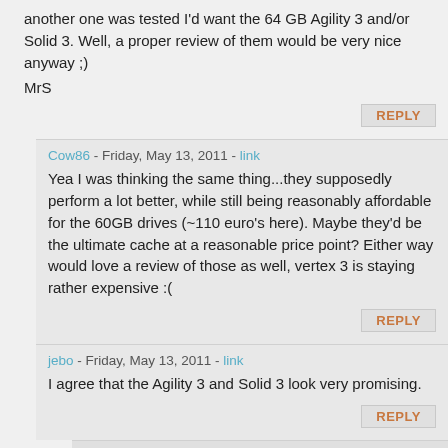another one was tested I'd want the 64 GB Agility 3 and/or Solid 3. Well, a proper review of them would be very nice anyway ;)
MrS
REPLY
Cow86 - Friday, May 13, 2011 - link
Yea I was thinking the same thing...they supposedly perform a lot better, while still being reasonably affordable for the 60GB drives (~110 euro's here). Maybe they'd be the ultimate cache at a reasonable price point? Either way would love a review of those as well, vertex 3 is staying rather expensive :(
REPLY
jebo - Friday, May 13, 2011 - link
I agree that the Agility 3 and Solid 3 look very promising.
REPLY
therealnickdanger - Friday, May 13, 2011 - link
Plus, SRT works with drives up to 64GB, so it seems worth it to test a drive of that size. I imagine there are many users (such as myself) that have older Intel 80GB, Indilix